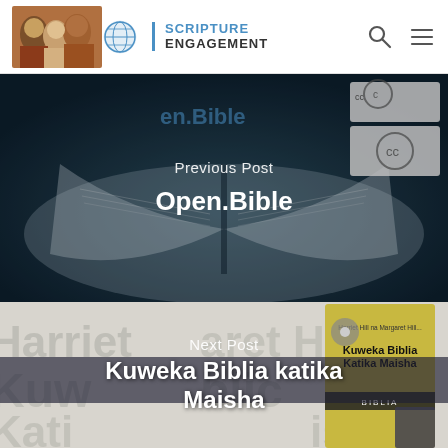Scripture Engagement
[Figure (screenshot): Open.Bible website screenshot showing an open Bible book with blue tones and Creative Commons license icons in top right. Overlaid text reads 'Previous Post' and 'Open.Bible']
[Figure (photo): Book cover of 'Kuweka Biblia Katika Maisha' by Harriet Hill and Margaret Hill, shown against a background with repeated text. Overlaid text reads 'Next Post' and 'Kuweka Biblia katika Maisha']